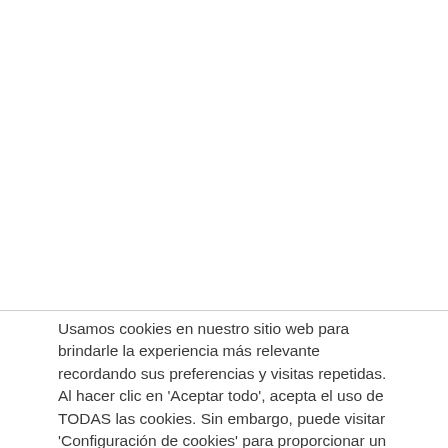Usamos cookies en nuestro sitio web para brindarle la experiencia más relevante recordando sus preferencias y visitas repetidas. Al hacer clic en 'Aceptar todo', acepta el uso de TODAS las cookies. Sin embargo, puede visitar 'Configuración de cookies' para proporcionar un consentimiento controlado.